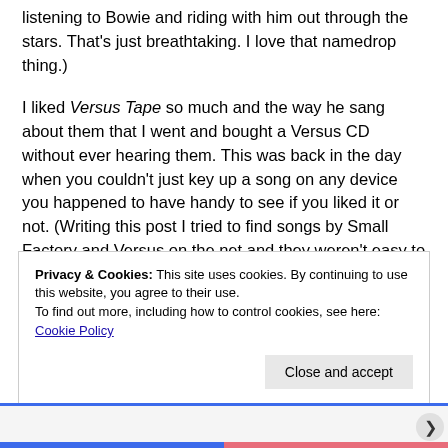listening to Bowie and riding with him out through the stars. That's just breathtaking. I love that namedrop thing.)
I liked Versus Tape so much and the way he sang about them that I went and bought a Versus CD without ever hearing them. This was back in the day when you couldn't just key up a song on any device you happened to have handy to see if you liked it or not. (Writing this post I tried to find songs by Small Factory and Versus on the net and they weren't easy to track down either.)
Privacy & Cookies: This site uses cookies. By continuing to use this website, you agree to their use. To find out more, including how to control cookies, see here: Cookie Policy
Close and accept